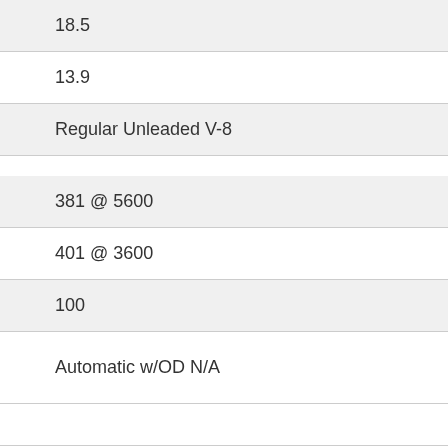18.5
13.9
Regular Unleaded V-8
381 @ 5600
401 @ 3600
100
Automatic w/OD N/A